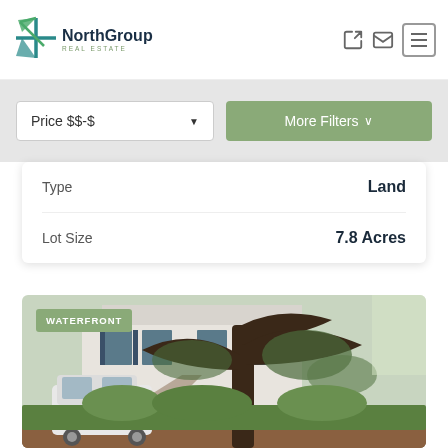[Figure (logo): NorthGroup Real Estate logo with teal/green star icon]
Price $$-$
More Filters
|  |  |
| --- | --- |
| Type | Land |
| Lot Size | 7.8 Acres |
[Figure (photo): Outdoor photo of a house driveway with a white SUV parked, large trees with Spanish moss, green hedges, and a house in the background. WATERFRONT badge overlay.]